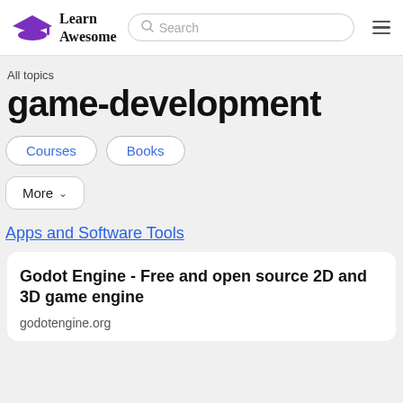Learn Awesome — Search bar — hamburger menu
All topics
game-development
Courses
Books
More
Apps and Software Tools
Godot Engine - Free and open source 2D and 3D game engine
godotengine.org